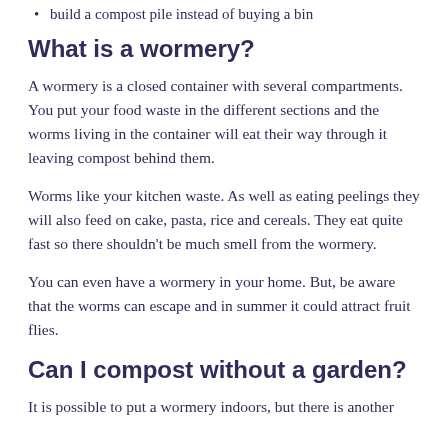build a compost pile instead of buying a bin
What is a wormery?
A wormery is a closed container with several compartments. You put your food waste in the different sections and the worms living in the container will eat their way through it leaving compost behind them.
Worms like your kitchen waste. As well as eating peelings they will also feed on cake, pasta, rice and cereals. They eat quite fast so there shouldn't be much smell from the wormery.
You can even have a wormery in your home. But, be aware that the worms can escape and in summer it could attract fruit flies.
Can I compost without a garden?
It is possible to put a wormery indoors, but there is another